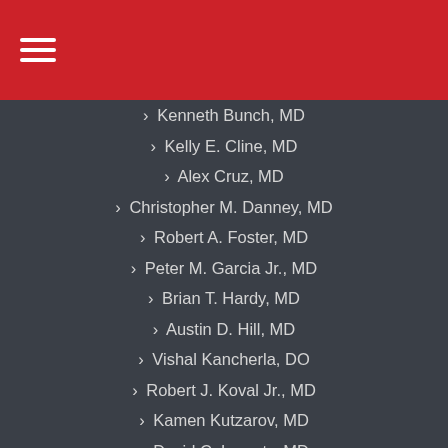Navigation menu header bar
› Kenneth Bunch, MD
› Kelly E. Cline, MD
› Alex Cruz, MD
› Christopher M. Danney, MD
› Robert A. Foster, MD
› Peter M. Garcia Jr., MD
› Brian T. Hardy, MD
› Austin D. Hill, MD
› Vishal Kancherla, DO
› Robert J. Koval Jr., MD
› Kamen Kutzarov, MD
› David C. Laverty, MD
› Zachariah Logan, MD
› Michael D. Loeb, MD
› Joseph R. Martinez, MD
› Benjamin A. McArthur, MD
› John E. McDonald Jr., MD